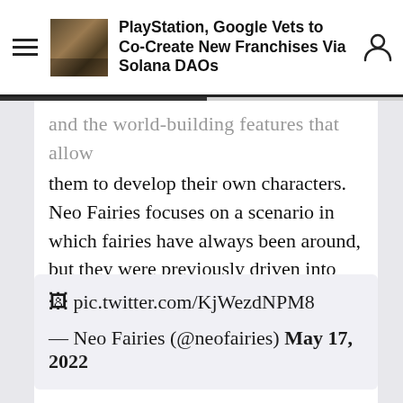PlayStation, Google Vets to Co-Create New Franchises Via Solana DAOs
and the world-building features that allow them to develop their own characters. Neo Fairies focuses on a scenario in which fairies have always been around, but they were previously driven into hiding by humans.
🖼 pic.twitter.com/KjWezdNPM8
— Neo Fairies (@neofairies) May 17, 2022
It's a new era for fairies, however, and they're emerging back into the world. As a collaborative world-building experience, Neo Fairies will allow